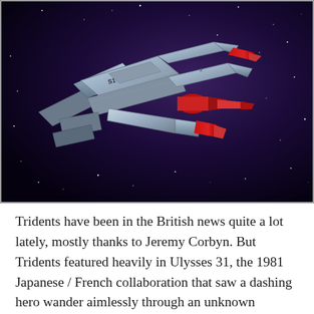[Figure (illustration): Animated spaceship (Odyssey from Ulysses 31) flying through a dark starry space. The ship is silver/grey with a trident-like form featuring three forward prongs with red tips. The background is deep purple-black with scattered white stars.]
Tridents have been in the British news quite a lot lately, mostly thanks to Jeremy Corbyn. But Tridents featured heavily in Ulysses 31, the 1981 Japanese / French collaboration that saw a dashing hero wander aimlessly through an unknown universe, bereft of the ability to